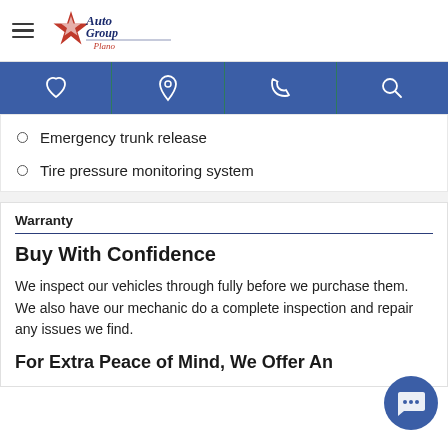Auto Group Plano
Emergency trunk release
Tire pressure monitoring system
Warranty
Buy With Confidence
We inspect our vehicles through fully before we purchase them. We also have our mechanic do a complete inspection and repair any issues we find.
For Extra Peace of Mind, We Offer An